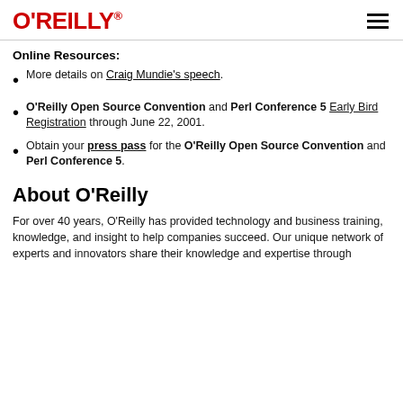O'REILLY
Online Resources:
More details on Craig Mundie's speech.
O'Reilly Open Source Convention and Perl Conference 5 Early Bird Registration through June 22, 2001.
Obtain your press pass for the O'Reilly Open Source Convention and Perl Conference 5.
About O'Reilly
For over 40 years, O'Reilly has provided technology and business training, knowledge, and insight to help companies succeed. Our unique network of experts and innovators share their knowledge and expertise through